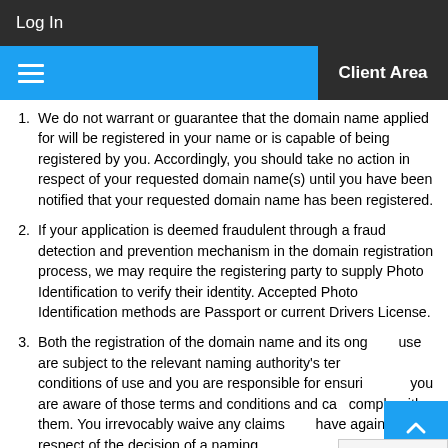Log In
Client Area
We do not warrant or guarantee that the domain name applied for will be registered in your name or is capable of being registered by you. Accordingly, you should take no action in respect of your requested domain name(s) until you have been notified that your requested domain name has been registered.
If your application is deemed fraudulent through a fraud detection and prevention mechanism in the domain registration process, we may require the registering party to supply Photo Identification to verify their identity. Accepted Photo Identification methods are Passport or current Drivers License.
Both the registration of the domain name and its ongoing use are subject to the relevant naming authority's terms and conditions of use and you are responsible for ensuring you are aware of those terms and conditions and can comply with them. You irrevocably waive any claims you have against us in respect of the decision of a naming